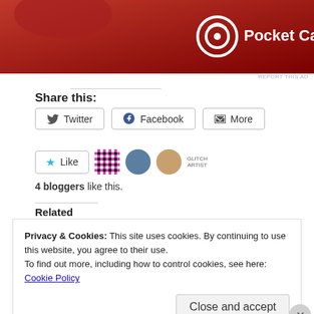[Figure (illustration): Red advertisement banner for Pocket Casts with logo and icon]
REPORT THIS AD
Share this:
Twitter  Facebook  More
4 bloggers like this.
Related
Privacy & Cookies: This site uses cookies. By continuing to use this website, you agree to their use.
To find out more, including how to control cookies, see here:
Cookie Policy
Close and accept